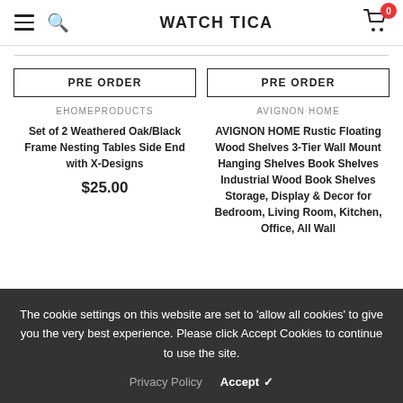WATCH TICA
PRE ORDER
EHOMEPRODUCTS
Set of 2 Weathered Oak/Black Frame Nesting Tables Side End with X-Designs
$25.00
PRE ORDER
AVIGNON HOME
AVIGNON HOME Rustic Floating Wood Shelves 3-Tier Wall Mount Hanging Shelves Book Shelves Industrial Wood Book Shelves Storage, Display & Decor for Bedroom, Living Room, Kitchen, Office, All Wall...
The cookie settings on this website are set to 'allow all cookies' to give you the very best experience. Please click Accept Cookies to continue to use the site.
Privacy Policy Accept ✓